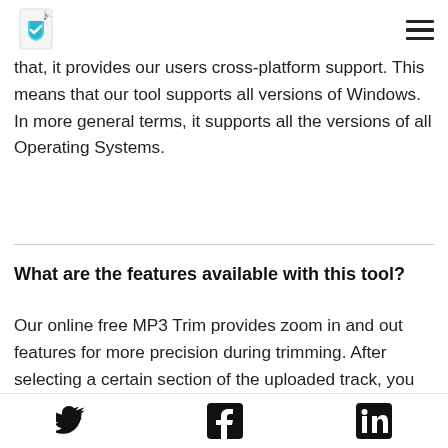[Figure (logo): App logo: shield with checkmark and music note on a document/page icon]
that, it provides our users cross-platform support. This means that our tool supports all versions of Windows. In more general terms, it supports all the versions of all Operating Systems.
What are the features available with this tool?
Our online free MP3 Trim provides zoom in and out features for more precision during trimming. After selecting a certain section of the uploaded track, you could do 4 things- delete the selected region, empty the selected area, keep the
Twitter, Facebook, LinkedIn social media icons